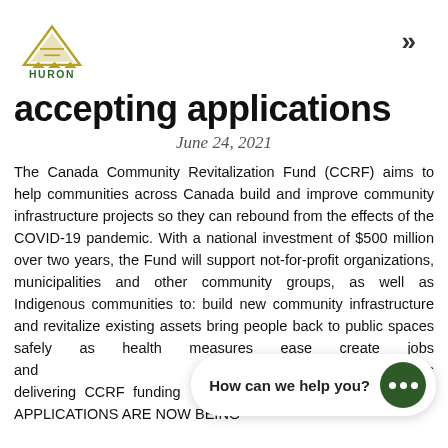HURON
accepting applications
June 24, 2021
The Canada Community Revitalization Fund (CCRF) aims to help communities across Canada build and improve community infrastructure projects so they can rebound from the effects of the COVID-19 pandemic. With a national investment of $500 million over two years, the Fund will support not-for-profit organizations, municipalities and other community groups, as well as Indigenous communities to: build new community infrastructure and revitalize existing assets bring people back to public spaces safely as health measures ease create jobs and support growth in Ontario. In Ontario, FedDev Ontario is delivering CCRF funding to local organizations. APPLICATIONS ARE NOW BEING